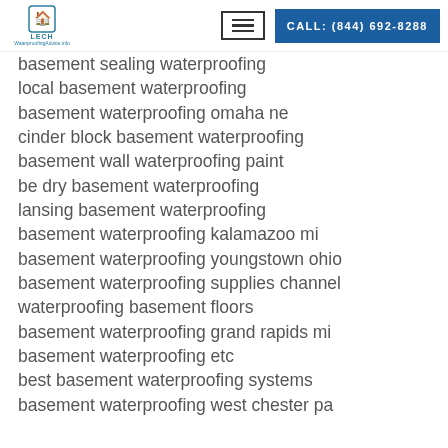LECH | CALL: (844) 692-8288
basement sealing waterproofing
local basement waterproofing
basement waterproofing omaha ne
cinder block basement waterproofing
basement wall waterproofing paint
be dry basement waterproofing
lansing basement waterproofing
basement waterproofing kalamazoo mi
basement waterproofing youngstown ohio
basement waterproofing supplies channel
waterproofing basement floors
basement waterproofing grand rapids mi
basement waterproofing etc
best basement waterproofing systems
basement waterproofing west chester pa